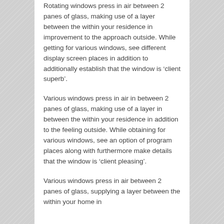Rotating windows press in air between 2 panes of glass, making use of a layer between the within your residence in improvement to the approach outside. While getting for various windows, see different display screen places in addition to additionally establish that the window is ‘client superb’.
Various windows press in air in between 2 panes of glass, making use of a layer in between the within your residence in addition to the feeling outside. While obtaining for various windows, see an option of program places along with furthermore make details that the window is ‘client pleasing’.
Various windows press in air between 2 panes of glass, supplying a layer between the within your home in